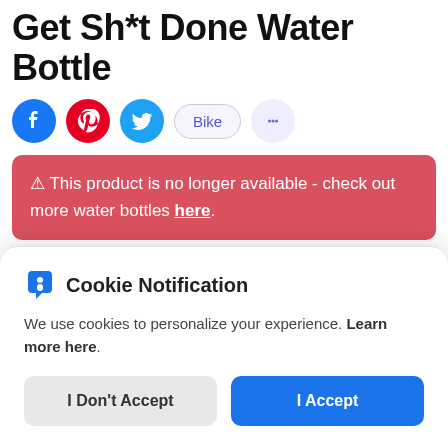Get Sh*t Done Water Bottle
[Figure (other): Social sharing icons row: Facebook (blue circle), Pinterest (red circle), Twitter (cyan circle), Bike (pill button), messaging icon (light purple circle)]
⚠ This product is no longer available - check out more water bottles here.
The Get Sh*t Done Water Bottle from Startup
Vitamins is a stunning stainless steel bottle with a
Cookie Notification
We use cookies to personalize your experience. Learn more here.
I Don't Accept | I Accept